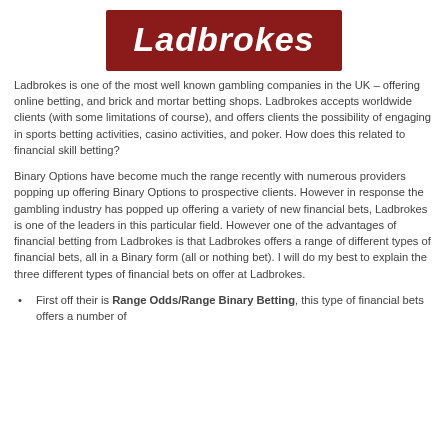[Figure (logo): Ladbrokes logo — white italic bold text on dark red/maroon background]
Ladbrokes is one of the most well known gambling companies in the UK – offering online betting, and brick and mortar betting shops. Ladbrokes accepts worldwide clients (with some limitations of course), and offers clients the possibility of engaging in sports betting activities, casino activities, and poker. How does this related to financial skill betting?
Binary Options have become much the range recently with numerous providers popping up offering Binary Options to prospective clients. However in response the gambling industry has popped up offering a variety of new financial bets, Ladbrokes is one of the leaders in this particular field. However one of the advantages of financial betting from Ladbrokes is that Ladbrokes offers a range of different types of financial bets, all in a Binary form (all or nothing bet). I will do my best to explain the three different types of financial bets on offer at Ladbrokes.
First off their is Range Odds/Range Binary Betting, this type of financial bets offers a number of